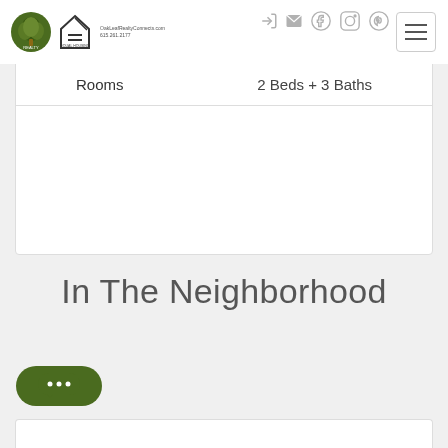Oak Leaf Realty - OakLeafRealtyConnects.com - 615.261.2177
Rooms   2 Beds + 3 Baths
In The Neighborhood